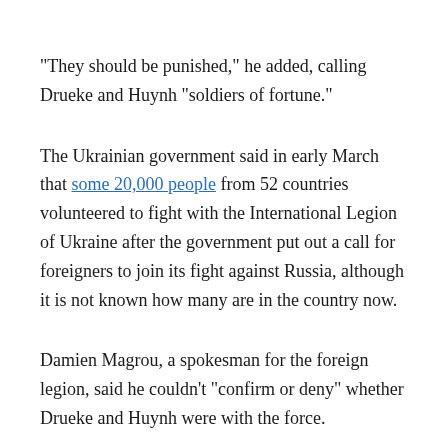“They should be punished,” he added, calling Drueke and Huynh “soldiers of fortune.”
The Ukrainian government said in early March that some 20,000 people from 52 countries volunteered to fight with the International Legion of Ukraine after the government put out a call for foreigners to join its fight against Russia, although it is not known how many are in the country now.
Damien Magrou, a spokesman for the foreign legion, said he couldn’t “confirm or deny” whether Drueke and Huynh were with the force.
Peskov also did not say whether the men were being held in Russia or by pro-Russian forces fighting the Ukrainians in the east of the country. He added that they were likely not covered by Geneva Conventions that afford protections to prisoners of war